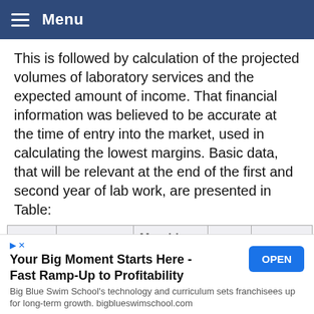Menu
This is followed by calculation of the projected volumes of laboratory services and the expected amount of income. That financial information was believed to be accurate at the time of entry into the market, used in calculating the lowest margins. Basic data, that will be relevant at the end of the first and second year of lab work, are presented in Table:
| Period | Type of service | Monthly volume of production and sales | price, rub. | revenue, rub. |
| --- | --- | --- | --- | --- |